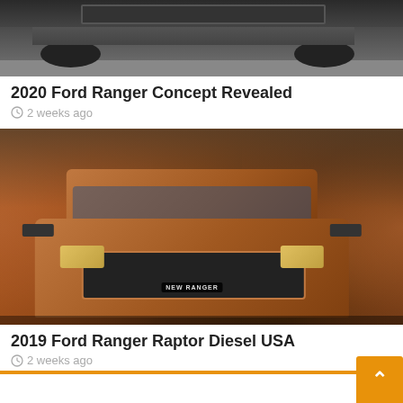[Figure (photo): Partial view of a dark pickup truck from above/side, showing wheels on a road — top portion of car cut off]
2020 Ford Ranger Concept Revealed
2 weeks ago
[Figure (photo): Ford New Ranger Raptor driving through dust cloud, front three-quarter view, copper/bronze color, red/brown dust billowing on both sides]
2019 Ford Ranger Raptor Diesel USA
2 weeks ago